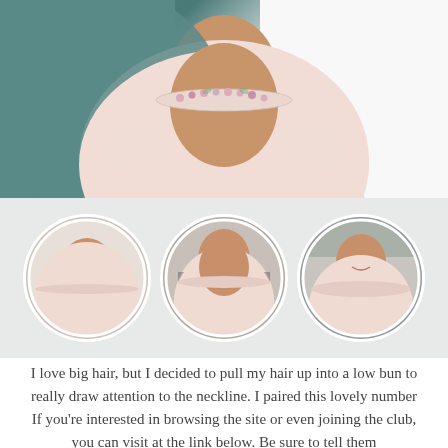[Figure (photo): Large cropped photo of woman in pale pink dress with jeweled/floral neckline, teal background, top portion of body visible]
[Figure (photo): Three circular photos in a row on gray background: left - woman in pale pink dress full/three-quarter pose; center - woman looking down at belly in pale pink dress; right - woman smiling in pale pink dress with jeweled neckline]
I love big hair, but I decided to pull my hair up into a low bun to really draw attention to the neckline. I paired this lovely number with a pair of nude BCBG pumps (not pictured). Simple elegance. Just my style!
If you're interested in browsing the site or even joining the club, you can visit at the link below. Be sure to tell them